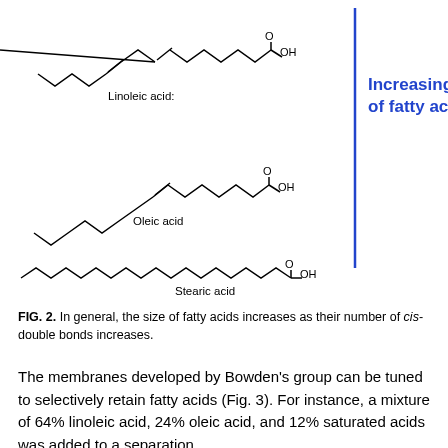[Figure (engineering-diagram): Chemical structure diagrams of three fatty acids (Linoleic acid, Oleic acid, Stearic acid) shown with zig-zag carbon chain structures, arranged vertically from top (Linoleic acid with two cis-double bonds) to bottom (Stearic acid, fully saturated straight chain). A vertical blue line on the right side annotated with 'Increasing size of fatty acids' in bold blue text indicates increasing molecular size from bottom to top.]
FIG. 2. In general, the size of fatty acids increases as their number of cis-double bonds increases.
The membranes developed by Bowden's group can be tuned to selectively retain fatty acids (Fig. 3). For instance, a mixture of 64% linoleic acid, 24% oleic acid, and 12% saturated acids was added to a separation